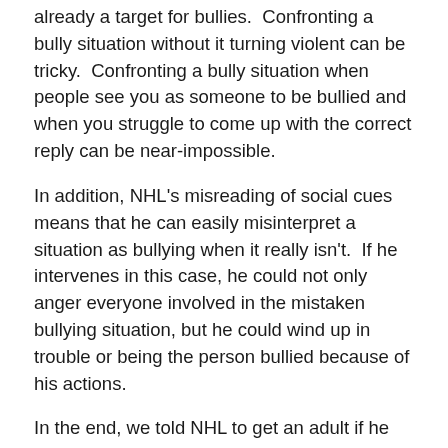already a target for bullies. Confronting a bully situation without it turning violent can be tricky. Confronting a bully situation when people see you as someone to be bullied and when you struggle to come up with the correct reply can be near-impossible.
In addition, NHL's misreading of social cues means that he can easily misinterpret a situation as bullying when it really isn't. If he intervenes in this case, he could not only anger everyone involved in the mistaken bullying situation, but he could wind up in trouble or being the person bullied because of his actions.
In the end, we told NHL to get an adult if he sees bullying from now on. Sadly, I know that this might not solve any bullying incident. Teachers might write off NHL's complaints as being made up. They might also decide, instead, to ignore the situation. (Sadly, we've had personal experience with school officials trying to sweep bullying under the rug.) Still, it seems like the best way for NHL to take action and